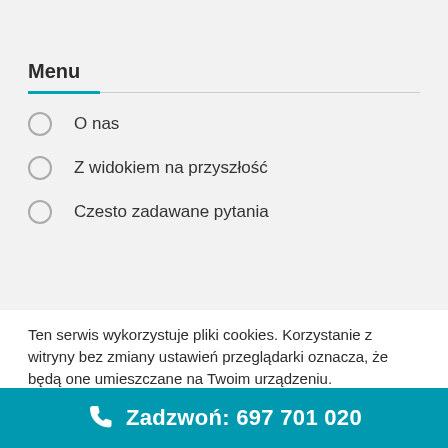Menu
O nas
Z widokiem na przyszłość
Czesto zadawane pytania
Ten serwis wykorzystuje pliki cookies. Korzystanie z witryny bez zmiany ustawień przeglądarki oznacza, że będą one umieszczane na Twoim urządzeniu.
Dowiedz się, jak możesz zmienić te ustawienia i uzyskaj dodatkowe informacje o wykorzystaniu plików cookies.
więcej
Zadzwoń: 697 701 020